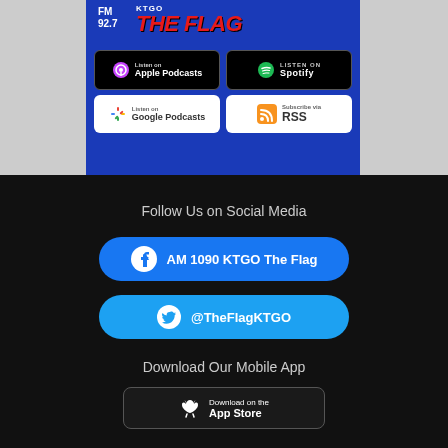[Figure (logo): FM 92.7 / AM 1090 KTGO The Flag radio station logo with blue background and red italic flag text, plus Apple Podcasts, Spotify, Google Podcasts, and RSS subscription badges]
Follow Us on Social Media
AM 1090 KTGO The Flag
@TheFlagKTGO
Download Our Mobile App
Download on the